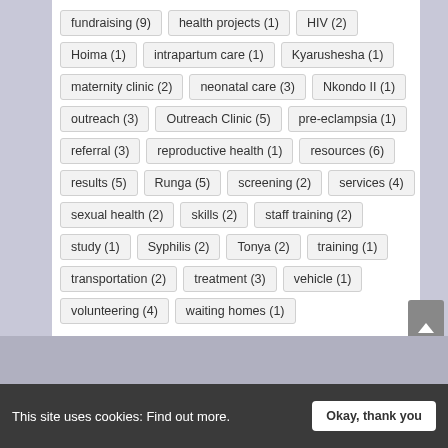fundraising (9)
health projects (1)
HIV (2)
Hoima (1)
intrapartum care (1)
Kyarushesha (1)
maternity clinic (2)
neonatal care (3)
Nkondo II (1)
outreach (3)
Outreach Clinic (5)
pre-eclampsia (1)
referral (3)
reproductive health (1)
resources (6)
results (5)
Runga (5)
screening (2)
services (4)
sexual health (2)
skills (2)
staff training (2)
study (1)
Syphilis (2)
Tonya (2)
training (1)
transportation (2)
treatment (3)
vehicle (1)
volunteering (4)
waiting homes (1)
This site uses cookies: Find out more.
Okay, thank you